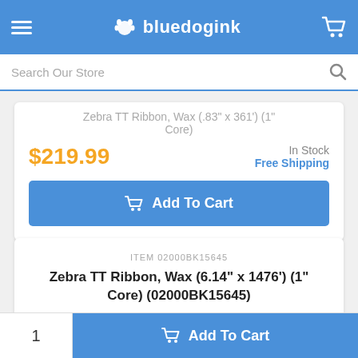bluedogink
Search Our Store
Zebra TT Ribbon, Wax (.83" x 361') (1" Core)
$219.99
In Stock
Free Shipping
Add To Cart
ITEM 02000BK15645
Zebra TT Ribbon, Wax (6.14" x 1476') (1" Core) (02000BK15645)
1
Add To Cart